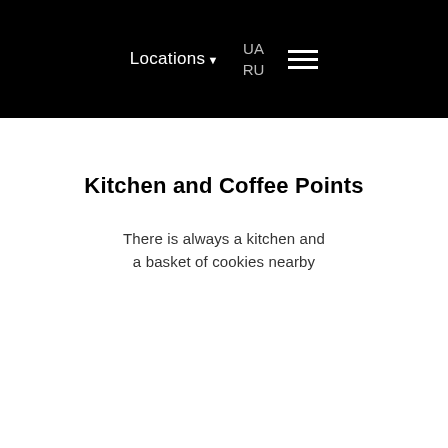Locations UA RU ☰
Kitchen and Coffee Points
There is always a kitchen and a basket of cookies nearby